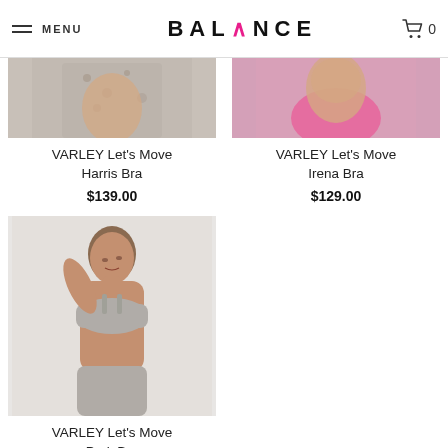BALANCE — MENU, Cart 0
VARLEY Let's Move Harris Bra
$139.00
VARLEY Let's Move Irena Bra
$129.00
[Figure (photo): Model wearing grey heathered sports bra - VARLEY Let's Move Park Bra]
VARLEY Let's Move Park Bra
$139.00